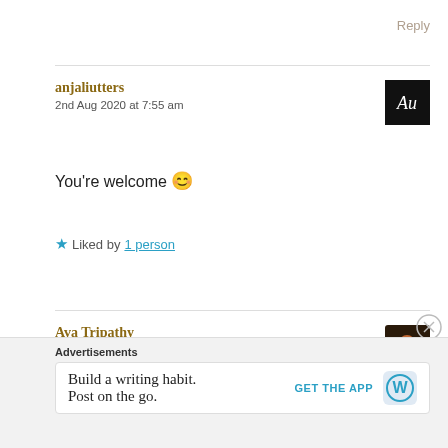Reply
anjaliutters
2nd Aug 2020 at 7:55 am
You're welcome 😊
★ Liked by 1 person
Ava Tripathy
2nd Aug 2020 at 9:33 am
Advertisements
Build a writing habit. Post on the go.
GET THE APP